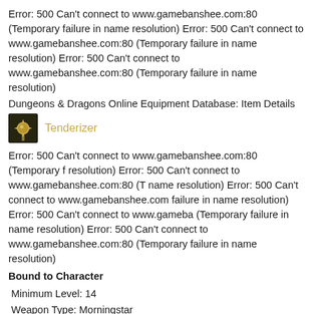Error: 500 Can't connect to www.gamebanshee.com:80 (Temporary failure in name resolution) Error: 500 Can't connect to www.gamebanshee.com:80 (Temporary failure in name resolution) Error: 500 Can't connect to www.gamebanshee.com:80 (Temporary failure in name resolution)
Dungeons & Dragons Online Equipment Database: Item Details
[Figure (illustration): Golden morningstar weapon icon with dark background]
Tenderizer
Error: 500 Can't connect to www.gamebanshee.com:80 (Temporary failure in name resolution) Error: 500 Can't connect to www.gamebanshee.com:80 (Temporary failure in name resolution) Error: 500 Can't connect to www.gamebanshee.com:80 (Temporary failure in name resolution) Error: 500 Can't connect to www.gamebanshee.com:80 (Temporary failure in name resolution) Error: 500 Can't connect to www.gamebanshee.com:80 (Temporary failure in name resolution) Error: 500 Can't connect to www.gamebanshee.com:80 (Temporary failure in name resolution)
Bound to Character
Minimum Level: 14
Weapon Type: Morningstar
Equips To: Main Hand, Off Hand
Proficiency: Simple Weapon Proficiency
Damage: 1d8 + 5 Bludgeon, Adamantine, Magic
Critical Roll: 19-20 / x2